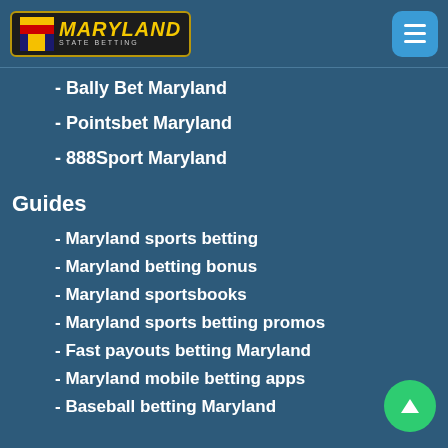Maryland State Betting logo and menu button
- Bally Bet Maryland
- Pointsbet Maryland
- 888Sport Maryland
Guides
- Maryland sports betting
- Maryland betting bonus
- Maryland sportsbooks
- Maryland sports betting promos
- Fast payouts betting Maryland
- Maryland mobile betting apps
- Baseball betting Maryland